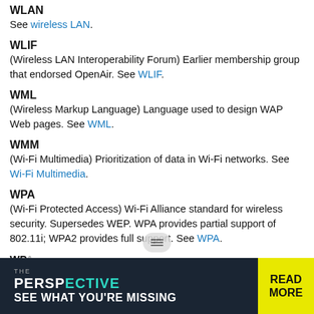WLAN
See wireless LAN.
WLIF
(Wireless LAN Interoperability Forum) Earlier membership group that endorsed OpenAir. See WLIF.
WML
(Wireless Markup Language) Language used to design WAP Web pages. See WML.
WMM
(Wi-Fi Multimedia) Prioritization of data in Wi-Fi networks. See Wi-Fi Multimedia.
WPA
(Wi-Fi Protected Access) Wi-Fi Alliance standard for wireless security. Supersedes WEP. WPA provides partial support of 802.11i; WPA2 provides full support. See WPA.
[Figure (screenshot): Advertisement banner for 'The Perspective' with text 'SEE WHAT YOU'RE MISSING' and a 'READ MORE' button on yellow background]